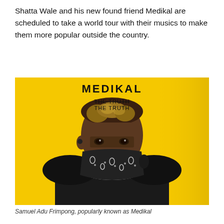Shatta Wale and his new found friend Medikal are scheduled to take a world tour with their musics to make them more popular outside the country.
[Figure (photo): Album cover / promotional photo of Medikal (Samuel Adu Frimpong), a Ghanaian musician. He wears a black leather jacket and a black bandana face mask with white paisley pattern over his mouth, and a silver chain necklace. The background is bright yellow. Text overlaid reads 'MEDIKAL' in bold black letters at the top, and below it 'THE TRUTH / THE TRUTH' with a strikethrough effect on the first line.]
Samuel Adu Frimpong, popularly known as Medikal